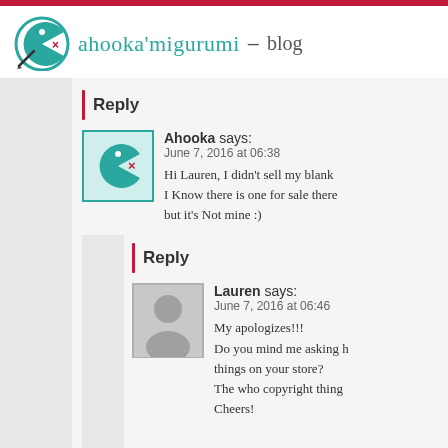ahooka'migurumi – blog
Reply
Ahooka says:
June 7, 2016 at 06:38
Hi Lauren, I didn't sell my blank... I Know there is one for sale there but it's Not mine :)
Reply
Lauren says:
June 7, 2016 at 06:46
My apologizes!!!
Do you mind me asking how things on your store?
The who copyright thing
Cheers!